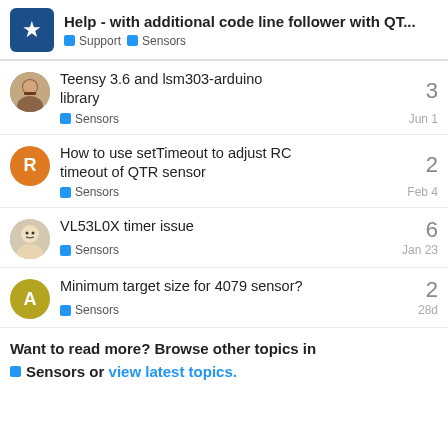Help - with additional code line follower with QT... | Support | Sensors
Teensy 3.6 and lsm303-arduino library | Sensors | Jun 1 | 3 replies
How to use setTimeout to adjust RC timeout of QTR sensor | Sensors | Feb 4 | 2 replies
VL53L0X timer issue | Sensors | Jan 23 | 6 replies
Minimum target size for 4079 sensor? | Sensors | 28d | 2 replies
Want to read more? Browse other topics in Sensors or view latest topics.